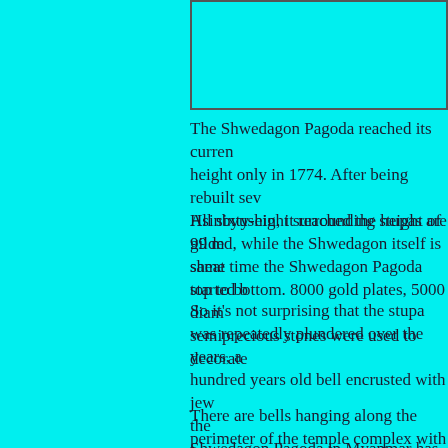[Figure (other): Image box placeholder at top right of page]
The Shwedagon Pagoda reached its current height only in 1774. After being rebuilt several times by Hsinbyushin, it reached the height of 99 m. At the same time the Shwedagon Pagoda started b…
All sixty-eight surrounding stupas are gilded, while the Shwedagon itself is sheathed from top to bottom. 8000 gold plates, 5000 diamonds, semiprecious stones were used to decorate…
So it's not surprising that the stupa was repeatedly plundered over the years, a hundred years old bell encrusted with jewels the Shwedagon Pagoda in Myanmar has survived glory.
There are bells hanging along the perimeter of the temple complex with wo… is believed that if you make a wish and hit th… come true. So here and there you can alw…